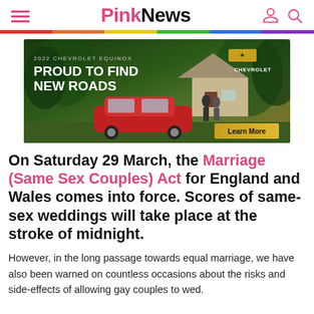PinkNews
[Figure (photo): Chevrolet Equinox advertisement banner: '2022 CHEVROLET EQUINOX – PROUD TO FIND NEW ROADS' with image of red SUV parked near a house, Chevrolet logo, and a 'Learn More' button.]
On Saturday 29 March, the Marriage (Same Sex Couples) Act for England and Wales comes into force. Scores of same-sex weddings will take place at the stroke of midnight.
However, in the long passage towards equal marriage, we have also been warned on countless occasions about the risks and side-effects of allowing gay couples to wed.